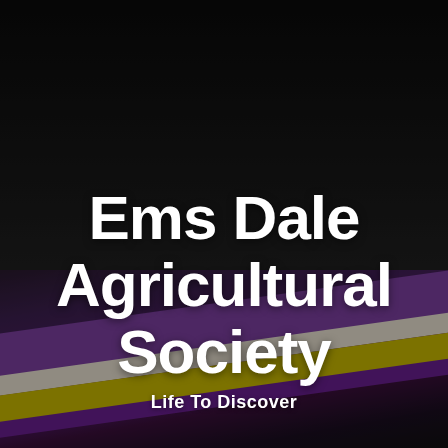[Figure (photo): Dark background with colorful pencils or notebooks (purple, white/cream, yellow bands) visible in the lower half, fading into black at the top. Semi-transparent dark overlay.]
Ems Dale Agricultural Society
Life To Discover